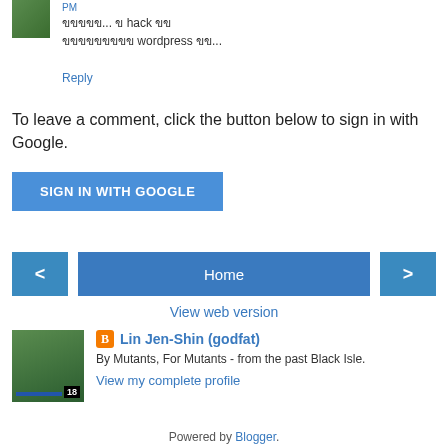PM
ขขขขข... ข hack ขข ขขขขขขขขข wordpress ขข...
Reply
To leave a comment, click the button below to sign in with Google.
[Figure (other): SIGN IN WITH GOOGLE button]
[Figure (other): Navigation: left arrow, Home, right arrow buttons]
View web version
[Figure (other): Author avatar with badge 18]
Lin Jen-Shin (godfat)
By Mutants, For Mutants - from the past Black Isle.
View my complete profile
Powered by Blogger.